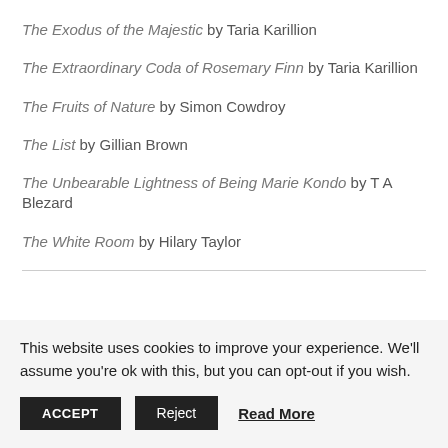The Exodus of the Majestic by Taria Karillion
The Extraordinary Coda of Rosemary Finn by Taria Karillion
The Fruits of Nature by Simon Cowdroy
The List by Gillian Brown
The Unbearable Lightness of Being Marie Kondo by T A Blezard
The White Room by Hilary Taylor
This website uses cookies to improve your experience. We'll assume you're ok with this, but you can opt-out if you wish.
ACCEPT | Reject | Read More